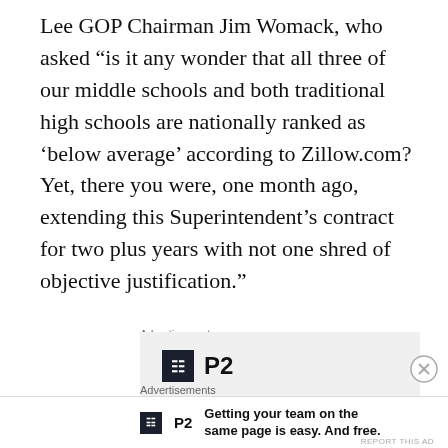Lee GOP Chairman Jim Womack, who asked “is it any wonder that all three of our middle schools and both traditional high schools are nationally ranked as ‘below average’ according to Zillow.com? Yet, there you were, one month ago, extending this Superintendent’s contract for two plus years with not one shred of objective justification.”
Advertisements
[Figure (other): P2 advertisement banner with logo and tagline: Getting your team on the same page is easy.]
Advertisements
[Figure (other): P2 small advertisement with logo and tagline: Getting your team on the same page is easy. And free.]